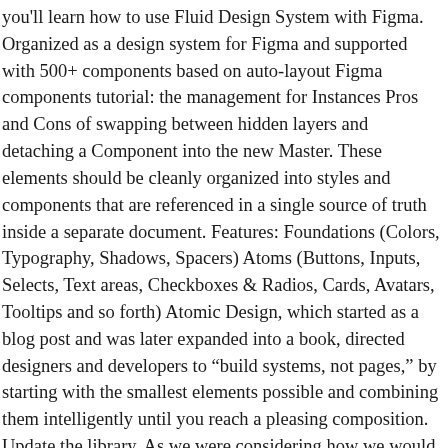you'll learn how to use Fluid Design System with Figma. Organized as a design system for Figma and supported with 500+ components based on auto-layout Figma components tutorial: the management for Instances Pros and Cons of swapping between hidden layers and detaching a Component into the new Master. These elements should be cleanly organized into styles and components that are referenced in a single source of truth inside a separate document. Features: Foundations (Colors, Typography, Shadows, Spacers) Atoms (Buttons, Inputs, Selects, Text areas, Checkboxes & Radios, Cards, Avatars, Tooltips and so forth) Atomic Design, which started as a blog post and was later expanded into a book, directed designers and developers to “build systems, not pages,” by starting with the smallest elements possible and combining them intelligently until you reach a pleasing composition. Update the library. As we were considering how we would approach building our design system, we looked to existing methodology— primarily Atomic Design by Brad Frost.